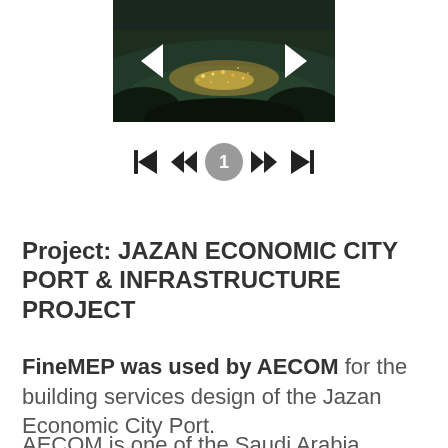[Figure (photo): Aerial night view of Jazan Economic City Port area with city lights visible among dark forested/mountainous terrain. Navigation arrows (left and right) overlaid on the image.]
[Figure (other): Pagination controls: skip-to-first, rewind, page number 1 in grey circle, fast-forward, skip-to-last buttons]
Project: JAZAN ECONOMIC CITY PORT & INFRASTRUCTURE PROJECT
FineMEP was used by AECOM for the building services design of the Jazan Economic City Port.
AECOM is one of the Saudi Arabia